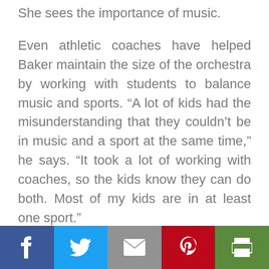She sees the importance of music.
Even athletic coaches have helped Baker maintain the size of the orchestra by working with students to balance music and sports. “A lot of kids had the misunderstanding that they couldn’t be in music and a sport at the same time,” he says. “It took a lot of working with coaches, so the kids know they can do both. Most of my kids are in at least one sport.”
Baker also works closely with the parent booster club, which plans events, performances and fundraising initiatives. “We have fantastic parent support,” he reports.
Social share bar: Facebook, Twitter, Email, Pinterest, Print